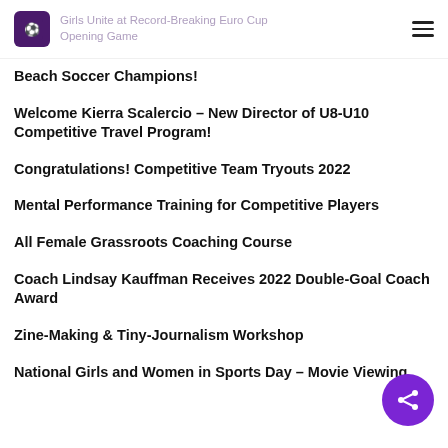Girls Unite at Record-Breaking Euro Cup Opening Game
Beach Soccer Champions!
Welcome Kierra Scalercio – New Director of U8-U10 Competitive Travel Program!
Congratulations! Competitive Team Tryouts 2022
Mental Performance Training for Competitive Players
All Female Grassroots Coaching Course
Coach Lindsay Kauffman Receives 2022 Double-Goal Coach Award
Zine-Making & Tiny-Journalism Workshop
National Girls and Women in Sports Day – Movie Viewing